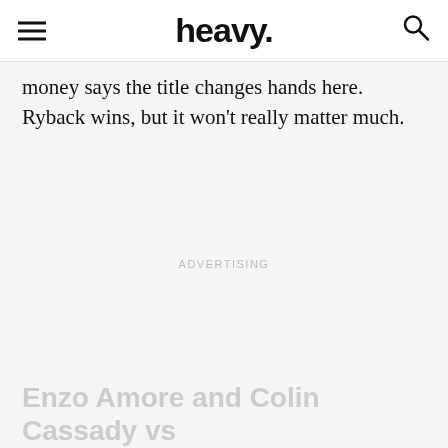heavy.
money says the title changes hands here. Ryback wins, but it won’t really matter much.
ADVERTISING
Enzo Amore and Colin Cassady vs